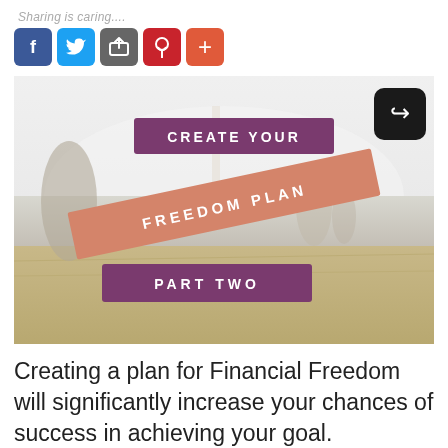Sharing is caring....
[Figure (infographic): Social sharing icons row: Facebook (blue), Twitter (cyan), Share/email (gray), Pinterest (red), Plus/add (orange-red)]
[Figure (illustration): Beach scene banner image with a person standing on the shore. Text overlays: 'CREATE YOUR' in purple rectangle, 'FREEDOM PLAN' in salmon/peach diagonal banner, 'PART TWO' in purple rectangle. A black rounded square with a share arrow icon in top right corner.]
Creating a plan for Financial Freedom will significantly increase your chances of success in achieving your goal.